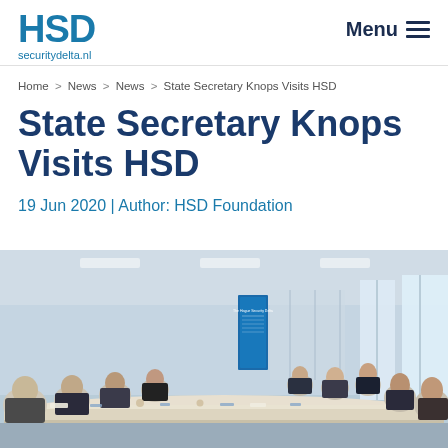HSD securitydelta.nl | Menu
Home > News > News > State Secretary Knops Visits HSD
State Secretary Knops Visits HSD
19 Jun 2020 | Author: HSD Foundation
[Figure (photo): Meeting room scene with people seated around a long conference table; an HSD The Hague Security Delta banner is visible in the background.]